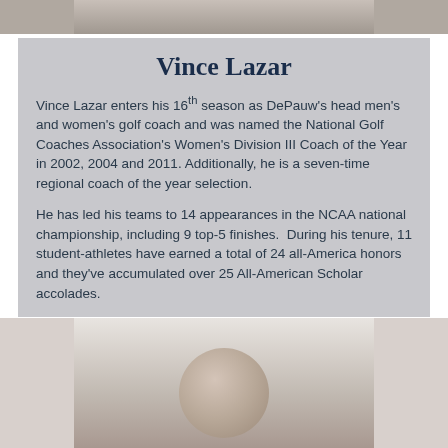[Figure (photo): Top portion of a person's photo, cropped at the shoulders]
Vince Lazar
Vince Lazar enters his 16th season as DePauw's head men's and women's golf coach and was named the National Golf Coaches Association's Women's Division III Coach of the Year in 2002, 2004 and 2011. Additionally, he is a seven-time regional coach of the year selection.
He has led his teams to 14 appearances in the NCAA national championship, including 9 top-5 finishes. During his tenure, 11 student-athletes have earned a total of 24 all-America honors and they've accumulated over 25 All-American Scholar accolades.
[Figure (photo): Portrait photo of a person, head and shoulders visible]